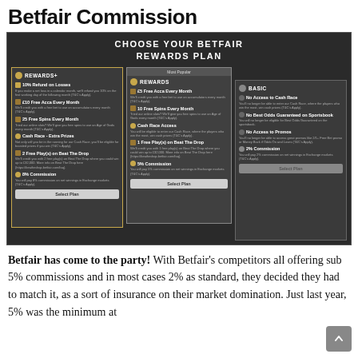Betfair Commission
[Figure (screenshot): Screenshot of Betfair Rewards Plan chooser showing three plan cards: REWARDS+, REWARDS (Most Popular), and BASIC, each listing features and a Select Plan button, on a dark background.]
Betfair has come to the party! With Betfair's competitors all offering sub 5% commissions and in most cases 2% as standard, they decided they had to match it, as a sort of insurance on their market domination. Just last year, 5% was the minimum at